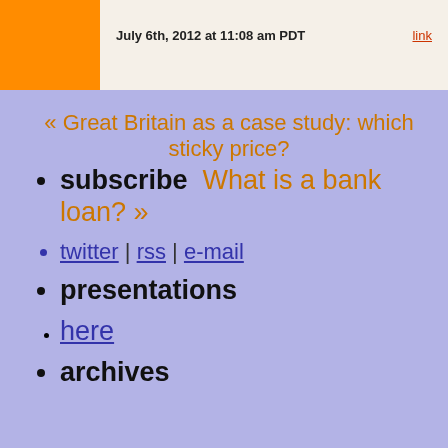July 6th, 2012 at 11:08 am PDT   link
« Great Britain as a case study: which sticky price?
subscribe   What is a bank loan? »
twitter | rss | e-mail
presentations
here
archives